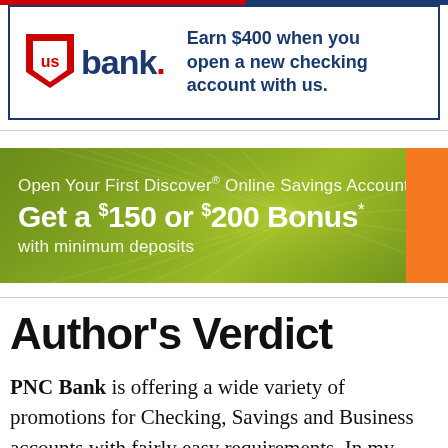[Figure (other): US Bank advertisement banner: US Bank logo on left with red shield and 'us bank.' text, and tagline 'Earn $400 when you open a new checking account with us.' in dark blue on right.]
[Figure (other): Discover Online Savings Account advertisement on green sunburst background. Text: 'Open Your First Discover® Online Savings Account', 'Get a $150 or $200 Bonus*', 'with minimum deposits'. Orange button on right edge.]
Author's Verdict
PNC Bank is offering a wide variety of promotions for Checking, Savings and Business accounts with fairly easy requirements. In my opinion, these bonuses are enticing considering they are soft pull, meaning it won't hurt your